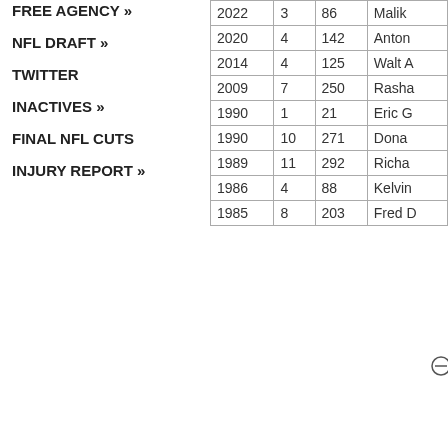FREE AGENCY »
NFL DRAFT »
TWITTER
INACTIVES »
FINAL NFL CUTS
INJURY REPORT »
| 2022 | 3 | 86 | Malik |
| 2020 | 4 | 142 | Anton |
| 2014 | 4 | 125 | Walt A |
| 2009 | 7 | 250 | Rasha |
| 1990 | 1 | 21 | Eric G |
| 1990 | 10 | 271 | Dona |
| 1989 | 11 | 292 | Richa |
| 1986 | 4 | 88 | Kelvin |
| 1985 | 8 | 203 | Fred D |